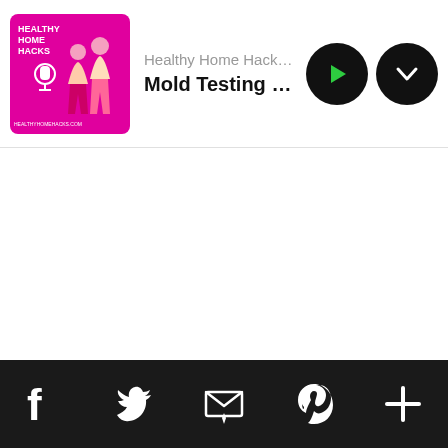[Figure (screenshot): Podcast player bar showing Healthy Home Hacks Podcast thumbnail (magenta background with figures and microphone icon), podcast name, episode title truncated, play button and chevron button]
Healthy Home Hacks Podcast
Mold Testing that Won't Break the Ba
[Figure (infographic): Bottom navigation bar with social sharing icons: Facebook, Twitter, Email, Pinterest, and a plus/more button on dark background]